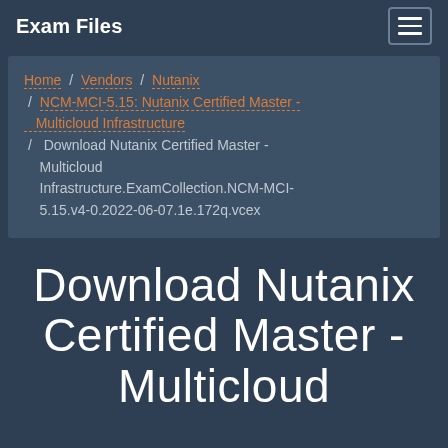Exam Files
Home / Vendors / Nutanix / NCM-MCI-5.15: Nutanix Certified Master - Multicloud Infrastructure / Download Nutanix Certified Master - Multicloud Infrastructure.ExamCollection.NCM-MCI-5.15.v4-0.2022-06-07.1e.172q.vcex
Download Nutanix Certified Master - Multicloud